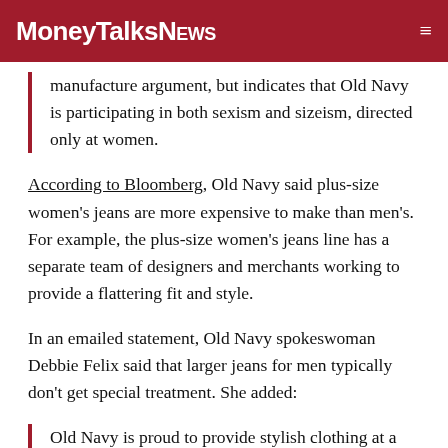MoneyTalksNews
manufacture argument, but indicates that Old Navy is participating in both sexism and sizeism, directed only at women.
According to Bloomberg, Old Navy said plus-size women's jeans are more expensive to make than men's. For example, the plus-size women's jeans line has a separate team of designers and merchants working to provide a flattering fit and style.
In an emailed statement, Old Navy spokeswoman Debbie Felix said that larger jeans for men typically don't get special treatment. She added:
Old Navy is proud to provide stylish clothing at a